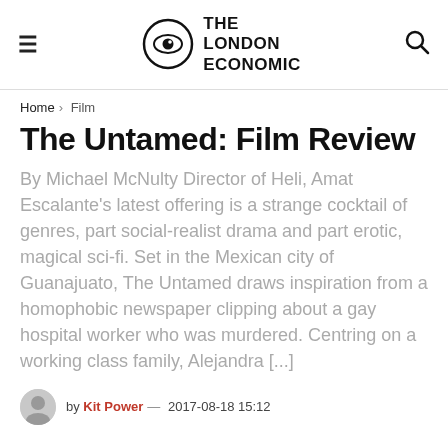THE LONDON ECONOMIC
Home > Film
The Untamed: Film Review
By Michael McNulty Director of Heli, Amat Escalante's latest offering is a strange cocktail of genres, part social-realist drama and part erotic, magical sci-fi. Set in the Mexican city of Guanajuato, The Untamed draws inspiration from a homophobic newspaper clipping about a gay hospital worker who was murdered. Centring on a working class family, Alejandra [...]
by Kit Power — 2017-08-18 15:12